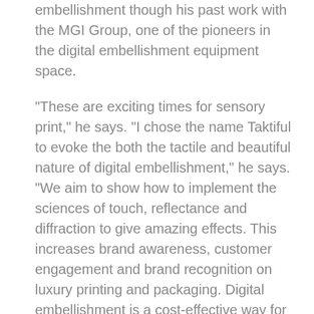embellishment though his past work with the MGI Group, one of the pioneers in the digital embellishment equipment space.
"These are exciting times for sensory print," he says. "I chose the name Taktiful to evoke the both the tactile and beautiful nature of digital embellishment," he says. "We aim to show how to implement the sciences of touch, reflectance and diffraction to give amazing effects. This increases brand awareness, customer engagement and brand recognition on luxury printing and packaging. Digital embellishment is a cost-effective way for printers and converters to add value to their work, elevating it away